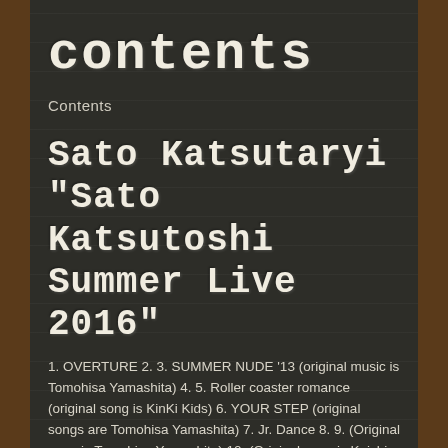contents
Contents
Sato Katsutaryi "Sato Katsutoshi Summer Live 2016"
1. OVERTURE 2. 3. SUMMER NUDE '13 (original music is Tomohisa Yamashita) 4. 5. Roller coaster romance (original song is KinKi Kids) 6. YOUR STEP (original songs are Tomohisa Yamashita) 7. Jr. Dance 8. 9. (Original song is Tomohisa Yamashita) 10. (Original song is Keishi Ryuin) 11. 12. 13. 3... 2... 1... (original